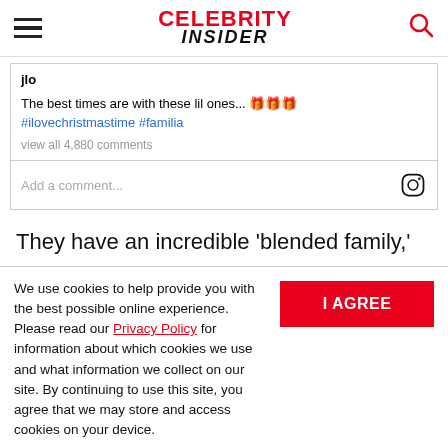Celebrity Insider
jlo
The best times are with these lil ones... 🎁🎁🎁 #ilovechristmastime #familia
view all 4,880 comments
Add a comment...
They have an incredible 'blended family,'
We use cookies to help provide you with the best possible online experience. Please read our Privacy Policy for information about which cookies we use and what information we collect on our site. By continuing to use this site, you agree that we may store and access cookies on your device.